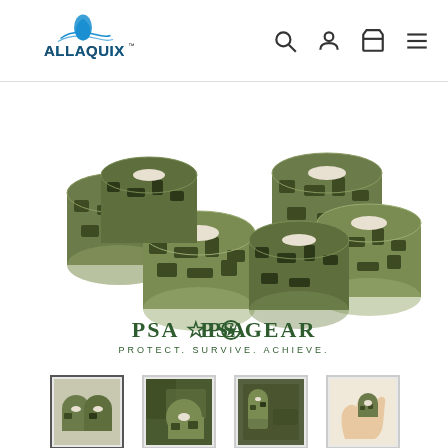[Figure (logo): AllaQuix logo with blue water droplet/wave graphic and text 'ALLAQUIX' with TM mark]
[Figure (other): Six rolls of camouflage self-adhesive wrap tape arranged in a group, with PSA OPS GEAR logo below reading PROTECT. SURVIVE. ACHIEVE.]
[Figure (photo): Thumbnail 1: Selected thumbnail showing 6 rolls of camo tape]
[Figure (photo): Thumbnail 2: Camo tape in forest/outdoor setting]
[Figure (photo): Thumbnail 3: Camo tape in use outdoors]
[Figure (photo): Thumbnail 4: Hand holding camo tape roll]